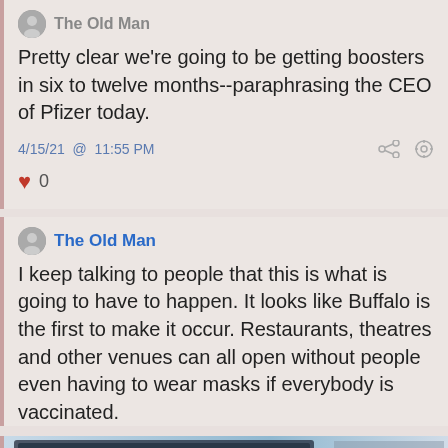The Old Man
Pretty clear we're going to be getting boosters in six to twelve months--paraphrasing the CEO of Pfizer today.
4/15/21 @ 11:55 PM
0
The Old Man
I keep talking to people that this is what is going to have to happen. It looks like Buffalo is the first to make it occur. Restaurants, theatres and other venues can all open without people even having to wear masks if everybody is vaccinated.
[Figure (photo): Screenshot of a TV showing coronavirus/virus imagery with spiky blue virus particles visible on screen]